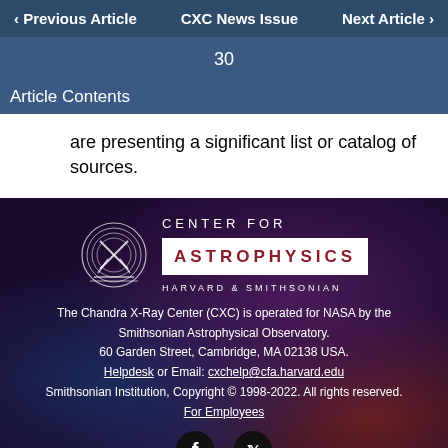‹ Previous Article    CXC News Issue    Next Article ›
30
Article Contents
are presenting a significant list or catalog of sources.
[Figure (logo): Center for Astrophysics Harvard & Smithsonian logo with CXC circular logo mark]
The Chandra X-Ray Center (CXC) is operated for NASA by the Smithsonian Astrophysical Observatory. 60 Garden Street, Cambridge, MA 02138 USA. Helpdesk or Email: cxchelp@cfa.harvard.edu Smithsonian Institution, Copyright © 1998-2022. All rights reserved. For Employees